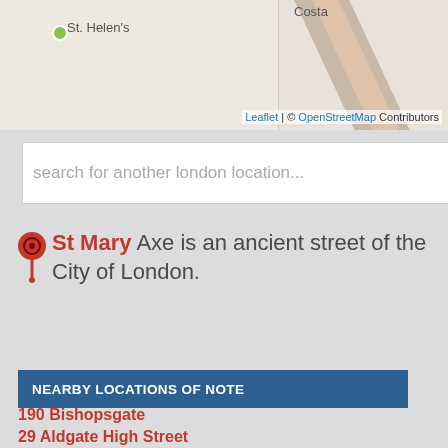[Figure (map): OpenStreetMap tile showing St. Helen's label with green dot, Costa label, and diagonal road markings. Attribution reads: Leaflet | © OpenStreetMap Contributors]
search for another london location...
St Mary Axe is an ancient street of the City of London.
NEARBY LOCATIONS OF NOTE
190 Bishopsgate
29 Aldgate High Street